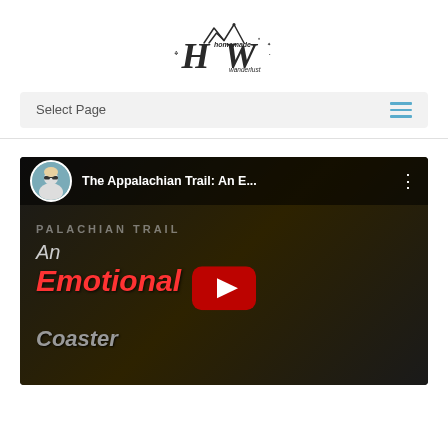[Figure (logo): Homemade Wanderlust logo with stylized HW letters and mountain peaks above]
Select Page
[Figure (screenshot): YouTube video thumbnail showing 'The Appalachian Trail: An E...' with text overlay reading 'An Emotional Roller Coaster' and a play button in the center]